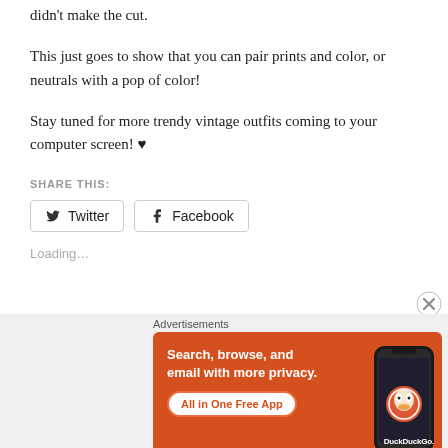didn't make the cut.
This just goes to show that you can pair prints and color, or neutrals with a pop of color!
Stay tuned for more trendy vintage outfits coming to your computer screen! ♥
SHARE THIS:
Twitter  Facebook
Loading…
[Figure (screenshot): DuckDuckGo advertisement banner: 'Search, browse, and email with more privacy. All in One Free App' with phone image and DuckDuckGo logo on orange background]